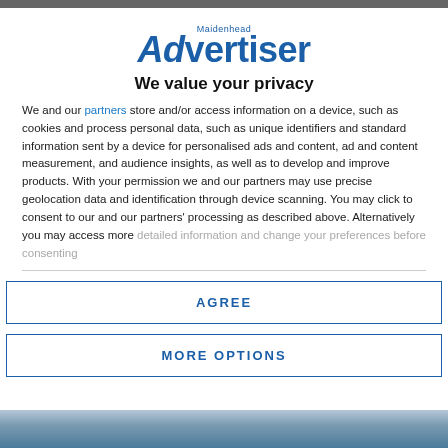[Figure (logo): Maidenhead Advertiser logo in blue]
We value your privacy
We and our partners store and/or access information on a device, such as cookies and process personal data, such as unique identifiers and standard information sent by a device for personalised ads and content, ad and content measurement, and audience insights, as well as to develop and improve products. With your permission we and our partners may use precise geolocation data and identification through device scanning. You may click to consent to our and our partners' processing as described above. Alternatively you may access more detailed information and change your preferences before consenting
AGREE
MORE OPTIONS
[Figure (photo): Partial image at bottom of page]